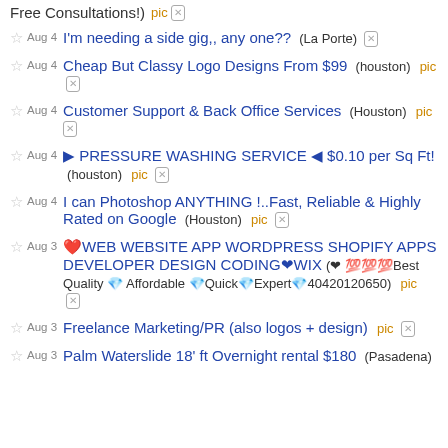Free Consultations!) pic [x]
Aug 4 I'm needing a side gig,, any one?? (La Porte) [x]
Aug 4 Cheap But Classy Logo Designs From $99 (houston) pic [x]
Aug 4 Customer Support & Back Office Services (Houston) pic [x]
Aug 4 ▶ PRESSURE WASHING SERVICE ◀ $0.10 per Sq Ft! (houston) pic [x]
Aug 4 I can Photoshop ANYTHING !..Fast, Reliable & Highly Rated on Google (Houston) pic [x]
Aug 3 ❤️WEB WEBSITE APP WORDPRESS SHOPIFY APPS DEVELOPER DESIGN CODING❤WIX (❤ 💯💯💯Best Quality 💎 Affordable 💎Quick💎Expert💎40420120650) pic [x]
Aug 3 Freelance Marketing/PR (also logos + design) pic [x]
Aug 3 Palm Waterslide 18' ft Overnight rental $180 (Pasadena)